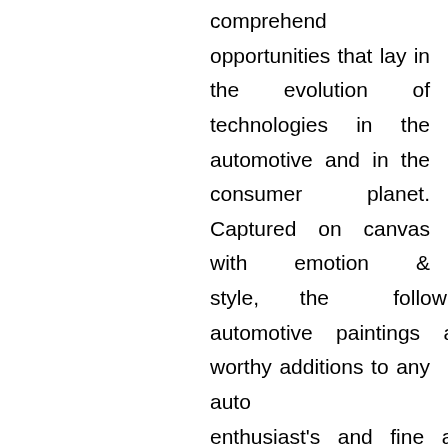comprehend the opportunities that lay in the evolution of technologies in the automotive and in the consumer planet. Captured on canvas with emotion & style, the following automotive paintings are worthy additions to any auto enthusiast's and fine art connoisseur's private collection. November 2008- Speak to North Carolina